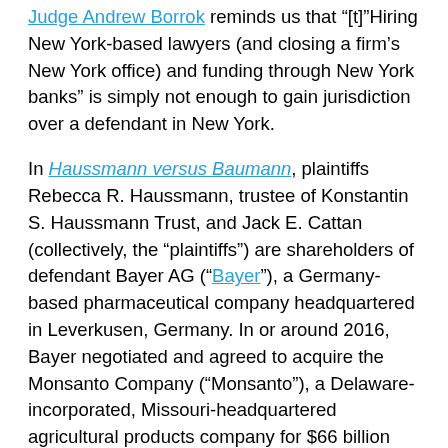Judge Andrew Borrok reminds us that "[t]"Hiring New York-based lawyers (and closing a firm's New York office) and funding through New York banks" is simply not enough to gain jurisdiction over a defendant in New York.
In Haussmann versus Baumann, plaintiffs Rebecca R. Haussmann, trustee of Konstantin S. Haussmann Trust, and Jack E. Cattan (collectively, the “plaintiffs”) are shareholders of defendant Bayer AG (“Bayer”), a Germany-based pharmaceutical company headquartered in Leverkusen, Germany. In or around 2016, Bayer negotiated and agreed to acquire the Monsanto Company (“Monsanto”), a Delaware-incorporated, Missouri-headquartered agricultural products company for $66 billion (the “ Moonshot transaction”). During the due diligence period of the transaction, Bayer engaged several banks, including Bank of America and Credit Suisse Group AG (collectively, the “Bank Defendants”). Additionally, Bayer hired a New York-based law firm Wachtell Lipton Rosen & Katz to finalize the transaction. Notably, neither Bayer nor the bank defendants were present at the closing, and none of Bayer’s board